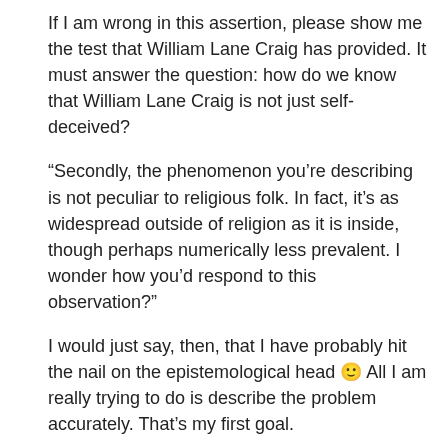If I am wrong in this assertion, please show me the test that William Lane Craig has provided. It must answer the question: how do we know that William Lane Craig is not just self-deceived?
“Secondly, the phenomenon you’re describing is not peculiar to religious folk. In fact, it’s as widespread outside of religion as it is inside, though perhaps numerically less prevalent. I wonder how you’d respond to this observation?”
I would just say, then, that I have probably hit the nail on the epistemological head 🙂 All I am really trying to do is describe the problem accurately. That’s my first goal.
But now what? How do we determine which is